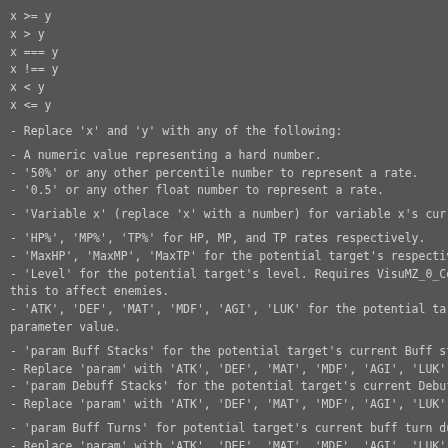x >= y
x > y
x === y
x !== y
x < y
x <= y
- Replace 'x' and 'y' with any of the following:
- A numeric value representing a hard number.
- '50%' or any other percentile number to represent a rate.
- '0.5' or any other float number to represent a rate.
- 'Variable x' (replace 'x' with a number) for variable x's current va
- 'HP%', 'MP%', 'TP%' for HP, MP, and TP rates respectively.
- 'MaxHP', 'MaxMP', 'MaxTP' for the potential target's respective valu
- 'Level' for the potential target's level. Requires VisuMZ_0_CoreEngi
this to affect enemies.
- 'ATK', 'DEF', 'MAT', 'MDF', 'AGI', 'LUK' for the potential target's
parameter value.
- 'param Buff Stacks' for the potential target's current Buff stacks.
- Replace 'param' with 'ATK', 'DEF', 'MAT', 'MDF', 'AGI', 'LUK'
- 'param Debuff Stacks' for the potential target's current Debuff stac
- Replace 'param' with 'ATK', 'DEF', 'MAT', 'MDF', 'AGI', 'LUK'
- 'param Buff Turns' for potential target's current buff turn duration
- Replace 'param' with 'ATK', 'DEF', 'MAT', 'MDF', 'AGI', 'LUK'
- Returns 0 if the potential target is not affected by that buff.
- 'param Debuff Turns' for potential target's current debuff turn du